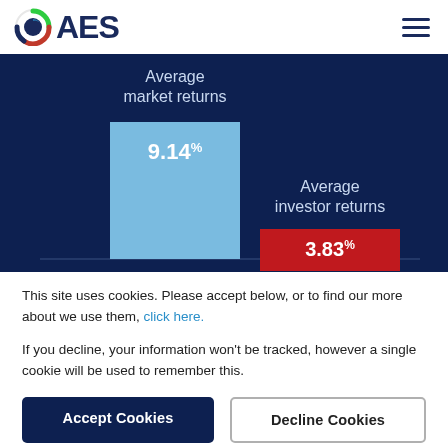AES
[Figure (bar-chart): Average market returns vs Average investor returns]
This site uses cookies. Please accept below, or to find our more about we use them, click here.
If you decline, your information won't be tracked, however a single cookie will be used to remember this.
Accept Cookies
Decline Cookies